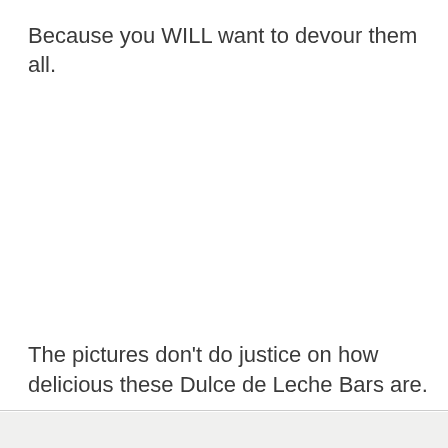Because you WILL want to devour them all.
The pictures don't do justice on how delicious these Dulce de Leche Bars are.
[Figure (photo): Partial view of food images at the bottom of the page, partially cropped.]